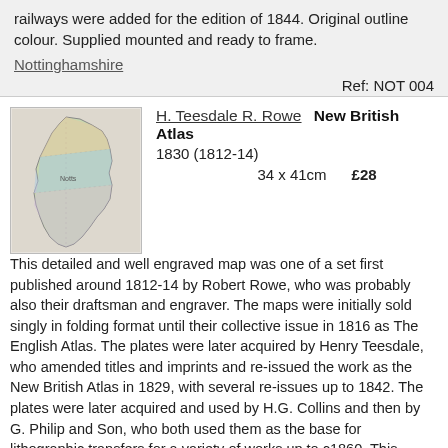railways were added for the edition of 1844. Original outline colour. Supplied mounted and ready to frame.
Nottinghamshire
Ref: NOT 004
[Figure (map): Small thumbnail map of Nottinghamshire county, showing coloured regions/districts with hand-drawn style engraving.]
H. Teesdale R. Rowe   New British Atlas 1830 (1812-14)
34 x 41cm     £28
This detailed and well engraved map was one of a set first published around 1812-14 by Robert Rowe, who was probably also their draftsman and engraver. The maps were initially sold singly in folding format until their collective issue in 1816 as The English Atlas. The plates were later acquired by Henry Teesdale, who amended titles and imprints and re-issued the work as the New British Atlas in 1829, with several re-issues up to 1842. The plates were later acquired and used by H.G. Collins and then by G. Philip and Son, who both used them as the base for lithographic transfers for a variety of works up to c1860. This example